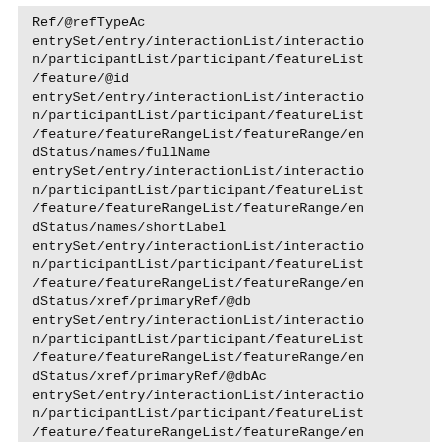Ref/@refTypeAc
entrySet/entry/interactionList/interaction/participantList/participant/featureList/feature/@id
entrySet/entry/interactionList/interaction/participantList/participant/featureList/feature/featureRangeList/featureRange/endStatus/names/fullName
entrySet/entry/interactionList/interaction/participantList/participant/featureList/feature/featureRangeList/featureRange/endStatus/names/shortLabel
entrySet/entry/interactionList/interaction/participantList/participant/featureList/feature/featureRangeList/featureRange/endStatus/xref/primaryRef/@db
entrySet/entry/interactionList/interaction/participantList/participant/featureList/feature/featureRangeList/featureRange/endStatus/xref/primaryRef/@dbAc
entrySet/entry/interactionList/interaction/participantList/participant/featureList/feature/featureRangeList/featureRange/en